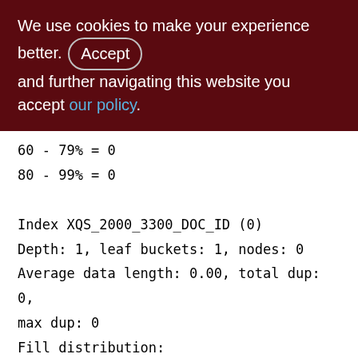We use cookies to make your experience better. By accepting and further navigating this website you accept our policy.
60 - 79% = 0
80 - 99% = 0

Index XQS_2000_3300_DOC_ID (0)
Depth: 1, leaf buckets: 1, nodes: 0
Average data length: 0.00, total dup: 0, max dup: 0
Fill distribution:
0 - 19% = 1
20 - 39% = 0
40 - 59% = 0
60 - 79% = 0